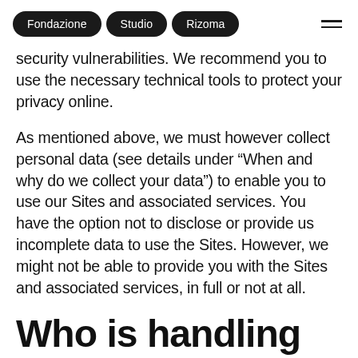Fondazione | Studio | Rizoma
security vulnerabilities. We recommend you to use the necessary technical tools to protect your privacy online.
As mentioned above, we must however collect personal data (see details under “When and why do we collect your data”) to enable you to use our Sites and associated services. You have the option not to disclose or provide us incomplete data to use the Sites. However, we might not be able to provide you with the Sites and associated services, in full or not at all.
Who is handling your